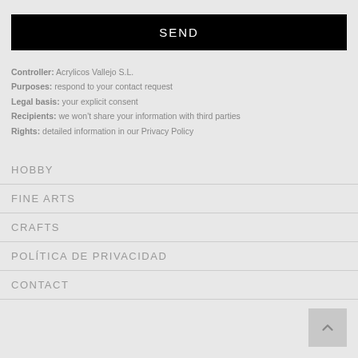SEND
Controller: Acrylicos Vallejo S.L.
Purposes: respond to your contact request
Legal basis: your explicit consent
Recipients: we won't share your information with third parties
Rights: detailed information in our Privacy Policy
HOBBY
FINE ARTS
CRAFTS
POLÍTICA DE PRIVACIDAD
CONTACT